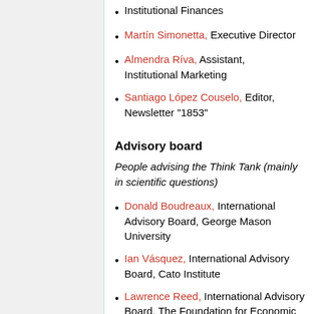Institutional Finances
Martín Simonetta, Executive Director
Almendra Ríva, Assistant, Institutional Marketing
Santiago López Couselo, Editor, Newsletter "1853"
Advisory board
People advising the Think Tank (mainly in scientific questions)
Donald Boudreaux, International Advisory Board, George Mason University
Ian Vásquez, International Advisory Board, Cato Institute
Lawrence Reed, International Advisory Board, The Foundation for Economic Education (FEE)